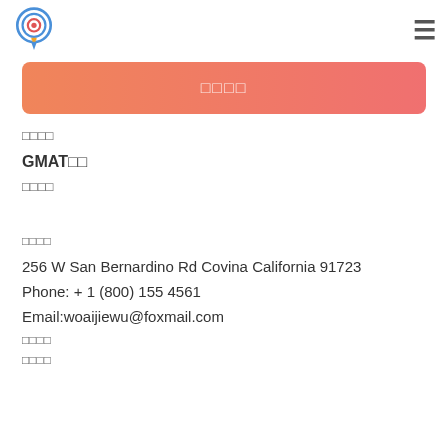[Figure (logo): Circular logo with target/bullseye and light bulb icon in blue and red/orange colors with a pin shape]
≡
□□□□
□□□□
GMAT□□
□□□□
□□□□
256 W San Bernardino Rd Covina California 91723
Phone: + 1 (800) 155 4561
Email:woaijiewu@foxmail.com
□□□□
□□□□